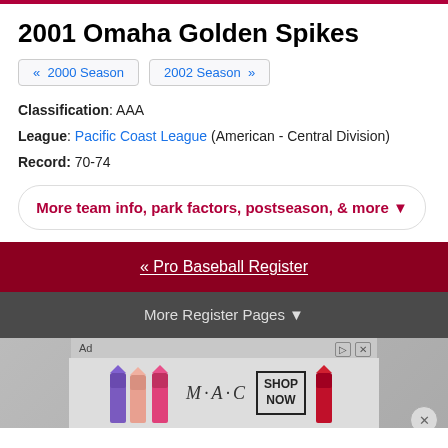2001 Omaha Golden Spikes
« 2000 Season
2002 Season »
Classification: AAA
League: Pacific Coast League (American - Central Division)
Record: 70-74
More team info, park factors, postseason, & more ▼
« Pro Baseball Register
More Register Pages ▼
[Figure (photo): MAC cosmetics advertisement showing lipsticks in purple, pink, and red colors with MAC logo and SHOP NOW text]